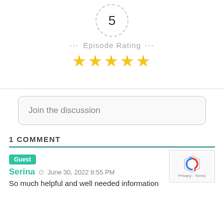[Figure (other): Number 5 inside a dashed circle, representing episode rating score]
--- Episode Rating ---
[Figure (other): Five gold stars representing a 5-star episode rating]
Join the discussion
1 COMMENT
Guest
Serina  June 30, 2022 8:55 PM
So much helpful and well needed information